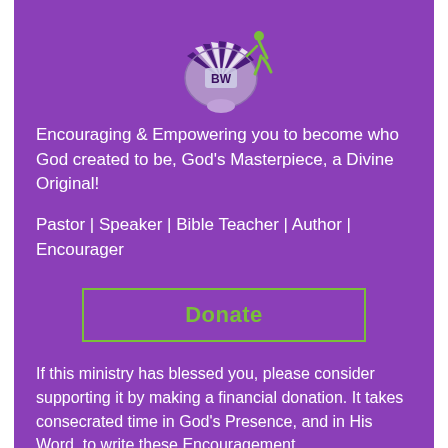[Figure (logo): Shell-shaped logo with purple and white stripes and a green figure running, with text 'BW' in the center]
Encouraging & Empowering you to become who God created to be, God's Masterpiece, a Divine Original!
Pastor | Speaker | Bible Teacher | Author | Encourager
Donate
If this ministry has blessed you, please consider supporting it by making a financial donation. It takes consecrated time in God's Presence, and in His Word, to write these Encouragement